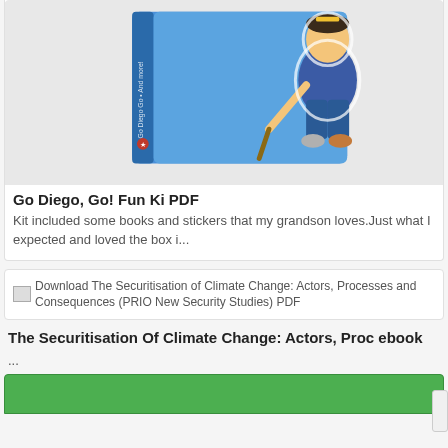[Figure (illustration): Book cover of 'Go Diego, Go! Fun Ki PDF' - a blue box/book with a cartoon character holding a stick, shown in 3D perspective against a light gray background.]
Go Diego, Go! Fun Ki PDF
Kit included some books and stickers that my grandson loves.Just what I expected and loved the box i...
[Figure (illustration): Broken image placeholder with alt text: Download The Securitisation of Climate Change: Actors, Processes and Consequences (PRIO New Security Studies) PDF]
The Securitisation Of Climate Change: Actors, Proc ebook
...
[Figure (illustration): Partially visible green card/book cover at the bottom of the page.]